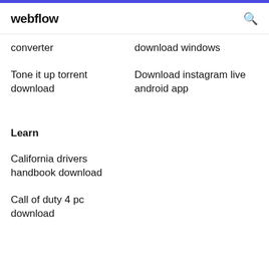webflow
converter
download windows
Tone it up torrent download
Download instagram live android app
Learn
California drivers handbook download
Call of duty 4 pc download